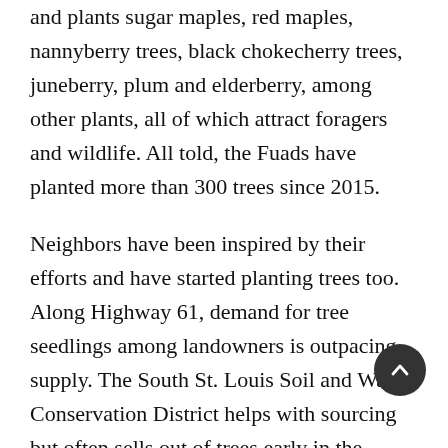and plants sugar maples, red maples, nannyberry trees, black chokecherry trees, juneberry, plum and elderberry, among other plants, all of which attract foragers and wildlife. All told, the Fuads have planted more than 300 trees since 2015.
Neighbors have been inspired by their efforts and have started planting trees too. Along Highway 61, demand for tree seedlings among landowners is outpacing supply. The South St. Louis Soil and Water Conservation District helps with sourcing but often sells out of trees early in the season, so the Fuads and others pick up trees from North St. Louis Soil and Water Conservation District in Eveleth, Minnesota. “As you can see with the number of people ordering trees,” Susan says, “there’s a lot of inspiration